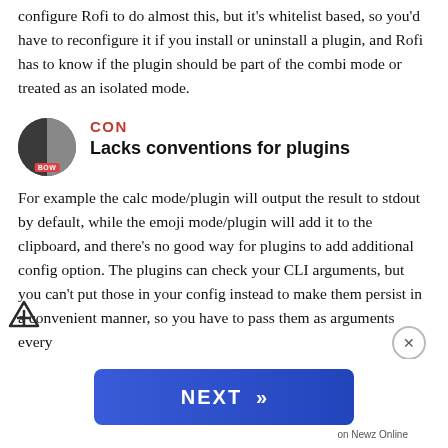generic 'enable everything' launch behavior. You can configure Rofi to do almost this, but it's whitelist based, so you'd have to reconfigure it if you install or uninstall a plugin, and Rofi has to know if the plugin should be part of the combi mode or treated as an isolated mode.
CON Lacks conventions for plugins
For example the calc mode/plugin will output the result to stdout by default, while the emoji mode/plugin will add it to the clipboard, and there's no good way for plugins to add additional config option. The plugins can check your CLI arguments, but you can't put those in your config instead to make them persist in a convenient manner, so you have to pass them as arguments every time and it limits their usefulness there and...
[Figure (other): NEXT advertisement button with arrow, labeled 'on Newz Online']